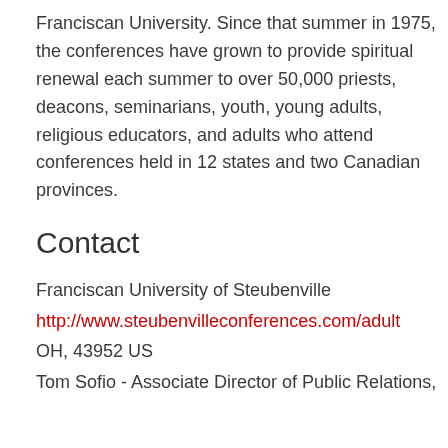Franciscan University. Since that summer in 1975, the conferences have grown to provide spiritual renewal each summer to over 50,000 priests, deacons, seminarians, youth, young adults, religious educators, and adults who attend conferences held in 12 states and two Canadian provinces.
Contact
Franciscan University of Steubenville
http://www.steubenvilleconferences.com/adult
OH, 43952 US
Tom Sofio - Associate Director of Public Relations,